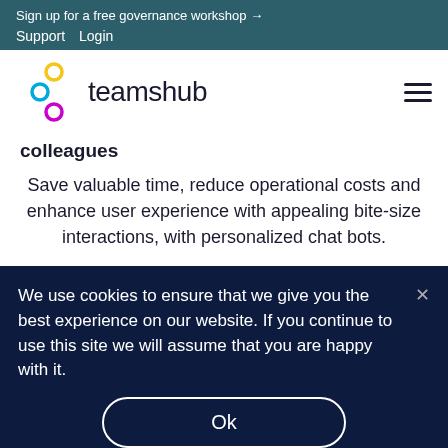Sign up for a free governance workshop →
Support   Login
[Figure (logo): Teamshub logo with colorful interlocking circles (yellow, blue, magenta) and the text 'teamshub']
colleagues
Save valuable time, reduce operational costs and enhance user experience with appealing bite-size interactions, with personalized chat bots.
We use cookies to ensure that we give you the best experience on our website. If you continue to use this site we will assume that you are happy with it.
Ok